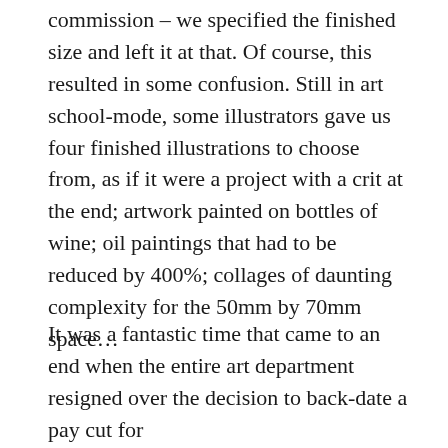commission – we specified the finished size and left it at that. Of course, this resulted in some confusion. Still in art school-mode, some illustrators gave us four finished illustrations to choose from, as if it were a project with a crit at the end; artwork painted on bottles of wine; oil paintings that had to be reduced by 400%; collages of daunting complexity for the 50mm by 70mm space…
It was a fantastic time that came to an end when the entire art department resigned over the decision to back-date a pay cut for